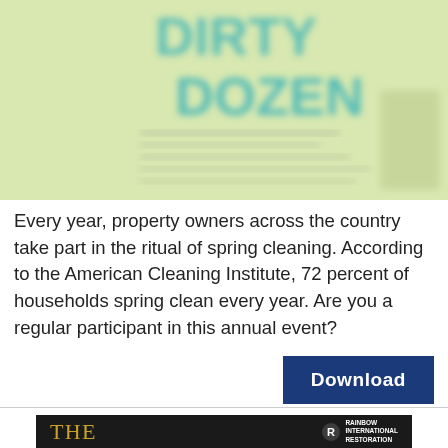[Figure (illustration): Blurred/cropped image showing text 'DIRTY DOZEN' in teal/green colors on a light green background with some blurred text content below the heading]
Every year, property owners across the country take part in the ritual of spring cleaning. According to the American Cleaning Institute, 72 percent of households spring clean every year. Are you a regular participant in this annual event?
[Figure (other): Blue Download button]
[Figure (logo): Bottom black banner showing 'THE' in gold/orange serif font on the left and Rainbow International Restoration logo on the right]